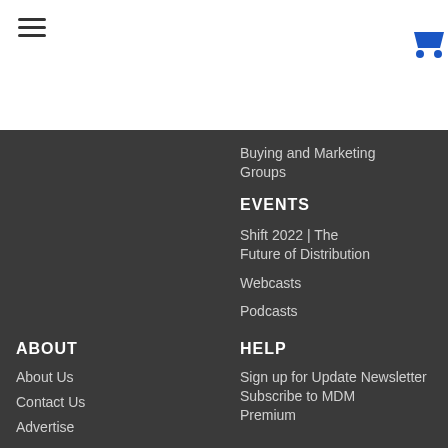[Figure (other): Hamburger menu icon (three horizontal lines)]
[Figure (other): Shopping cart icon in blue]
Buying and Marketing Groups
EVENTS
Shift 2022 | The Future of Distribution
Webcasts
Podcasts
ABOUT
HELP
About Us
Contact Us
Advertise
Sign up for Update Newsletter
Subscribe to MDM Premium